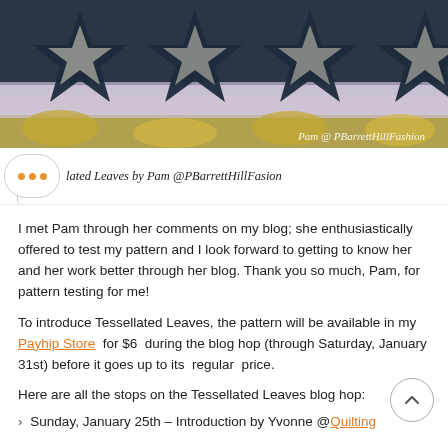[Figure (photo): A quilt featuring star/leaf tessellated pattern in dark navy blue, white, and yellow/gold colors, with watermark 'Pam @ PBarrettHillFashion' in bottom right corner.]
Tessellated Leaves by Pam @PBarrettHillFasion
I met Pam through her comments on my blog; she enthusiastically offered to test my pattern and I look forward to getting to know her and her work better through her blog. Thank you so much, Pam, for pattern testing for me!
To introduce Tessellated Leaves, the pattern will be available in my Payhip Store for $6 during the blog hop (through Saturday, January 31st) before it goes up to its regular price.
Here are all the stops on the Tessellated Leaves blog hop:
Sunday, January 25th – Introduction by Yvonne @Quilting